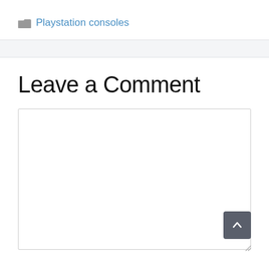Playstation consoles
Leave a Comment
[Figure (screenshot): Empty comment text area input box with a scroll-to-top button overlay]